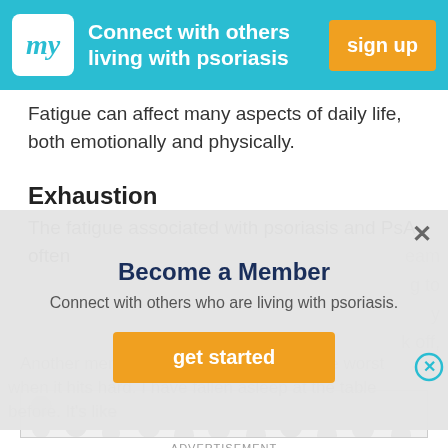[Figure (screenshot): Header banner with 'my' logo in white box on cyan background, text 'Connect with others living with psoriasis', orange 'sign up' button]
Fatigue can affect many aspects of daily life, both emotionally and physically.
Exhaustion
The fatigue associated with psoriasis and PsA often
[Figure (screenshot): Modal popup: 'Become a Member' title, subtitle 'Connect with others who are living with psoriasis.', orange 'get started' button, X close button]
Another member wrote, "The fatigue is the worst when it hits hard. I have fallen asleep at the table before. It's like
[Figure (infographic): Advertisement placeholder with dot/circle pattern on light background]
ADVERTISEMENT